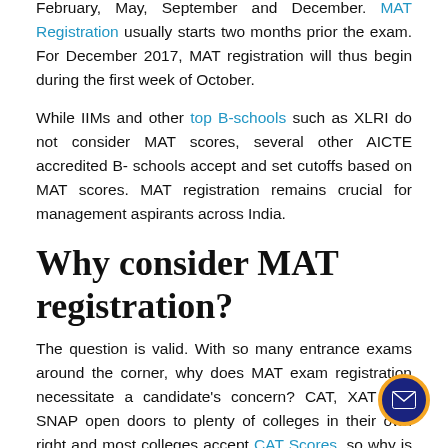February, May, September and December. MAT Registration usually starts two months prior the exam. For December 2017, MAT registration will thus begin during the first week of October.
While IIMs and other top B-schools such as XLRI do not consider MAT scores, several other AICTE accredited B-schools accept and set cutoffs based on MAT scores. MAT registration remains crucial for management aspirants across India.
Why consider MAT registration?
The question is valid. With so many entrance exams around the corner, why does MAT exam registration necessitate a candidate's concern? CAT, XAT and SNAP open doors to plenty of colleges in their own right and most colleges accept CAT Scores, so why is MAT registration important?